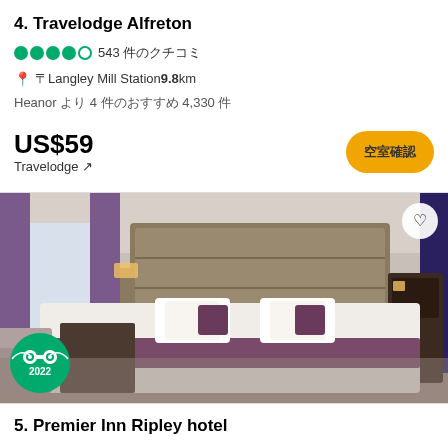4. Travelodge Alfreton
4.5 stars · 543 reviews
Langley Mill Station 9.8 km
Heanor より 4 件のおすすめ 4,330 件
US$59
Travelodge ↗
[Figure (photo): Hotel room photo showing a double bed with purple accent pillows and runner, beige/brown headboard, purple curtains, and armchair. TripAdvisor 2022 Travellers Choice badge in bottom left corner.]
5. Premier Inn Ripley hotel
4.5 stars · 1,040 reviews